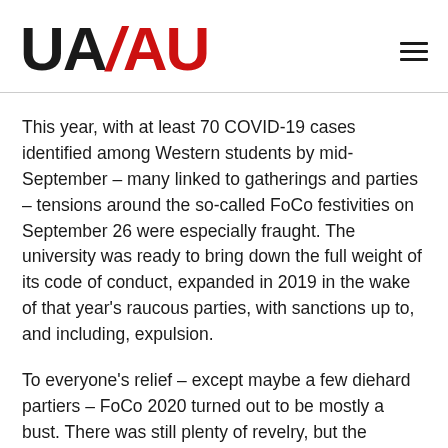UA/AU
This year, with at least 70 COVID-19 cases identified among Western students by mid-September – many linked to gatherings and parties – tensions around the so-called FoCo festivities on September 26 were especially fraught. The university was ready to bring down the full weight of its code of conduct, expanded in 2019 in the wake of that year's raucous parties, with sanctions up to, and including, expulsion.
To everyone's relief – except maybe a few diehard partiers – FoCo 2020 turned out to be mostly a bust. There was still plenty of revelry, but the evening looked more like a quiet night at home than the usual neighbourhood-enveloping bash.